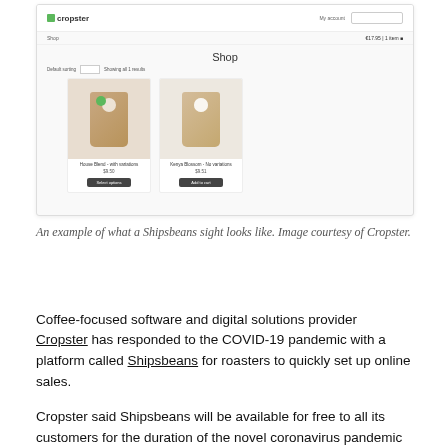[Figure (screenshot): Screenshot of the Cropster Shipsbeans online shop interface showing the shop page with two coffee bag products: 'House Blend - with variations' and 'Kenya Blossom - No variations', each with an Add to Cart button.]
An example of what a Shipsbeans sight looks like. Image courtesy of Cropster.
Coffee-focused software and digital solutions provider Cropster has responded to the COVID-19 pandemic with a platform called Shipsbeans for roasters to quickly set up online sales.
Cropster said Shipsbeans will be available for free to all its customers for the duration of the novel coronavirus pandemic as defined by the World Health Organization.